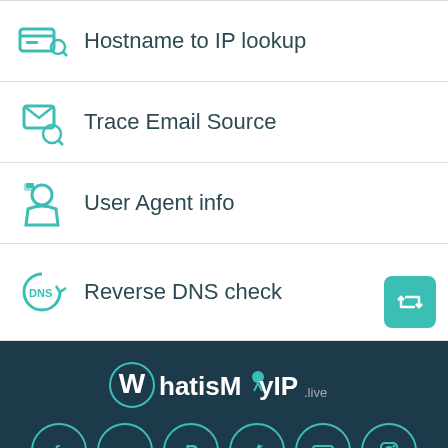Hostname to IP lookup
Trace Email Source
User Agent info
Reverse DNS check
[Figure (logo): WhatisMyIP.live logo on dark teal background]
[Figure (infographic): Social media icons row: Facebook, Google+, Pinterest, Twitter, YouTube, Instagram]
Privacy Policy | Terms & Conditions | C... CLOSE ...ls
[Figure (photo): Victoria's Secret advertisement banner: Shop The Collection / Shop Now]